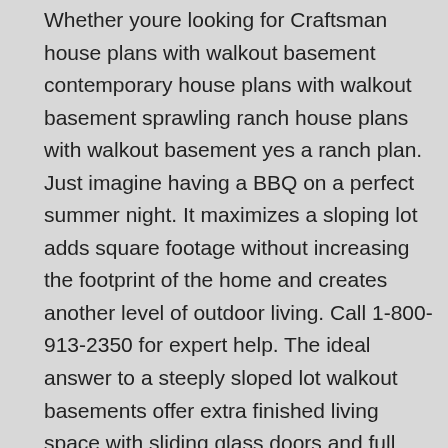Whether youre looking for Craftsman house plans with walkout basement contemporary house plans with walkout basement sprawling ranch house plans with walkout basement yes a ranch plan. Just imagine having a BBQ on a perfect summer night. It maximizes a sloping lot adds square footage without increasing the footprint of the home and creates another level of outdoor living. Call 1-800-913-2350 for expert help. The ideal answer to a steeply sloped lot walkout basements offer extra finished living space with sliding glass doors and full sized windows that allow a seamless transition from the basement to the backyard. Floor Plans for Builders.
Modern Farmhouse Plan W Walkout Basement Drummond House Plans. Call 1-800-913-2350 for expert